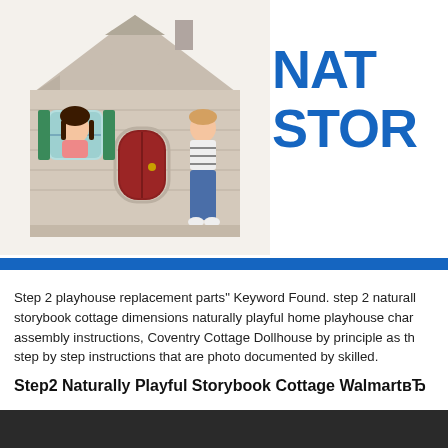[Figure (photo): Children playing with a Step2 Naturally Playful Storybook Cottage playhouse. A girl looks out the window while a boy stands at the door. The plastic playhouse is beige with a red door and green shutters.]
NATURALLY PLAYFUL STORYBOOK
Step 2 playhouse replacement parts" Keyword Found. step 2 naturally storybook cottage dimensions naturally playful home playhouse char assembly instructions, Coventry Cottage Dollhouse by principle as th step by step instructions that are photo documented by skilled.
Step2 Naturally Playful Storybook Cottage WalmartвЂ
[Figure (other): Dark/black bar at the bottom of the page]